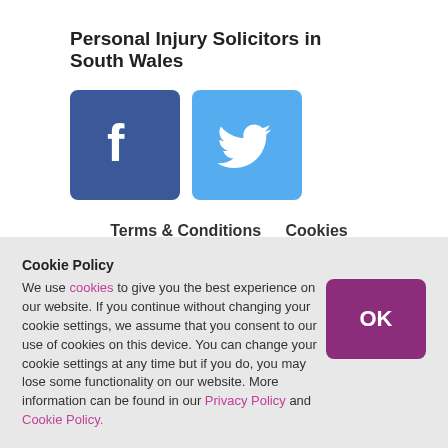Personal Injury Solicitors in South Wales
[Figure (illustration): Facebook and Twitter social media icons side by side]
Terms & Conditions   Cookies Policy   Privacy Policy   Complaints Procedure   Accessibility
We are members of the Association of Personal Injury
Cookie Policy
We use cookies to give you the best experience on our website. If you continue without changing your cookie settings, we assume that you consent to our use of cookies on this device. You can change your cookie settings at any time but if you do, you may lose some functionality on our website. More information can be found in our Privacy Policy and Cookie Policy.